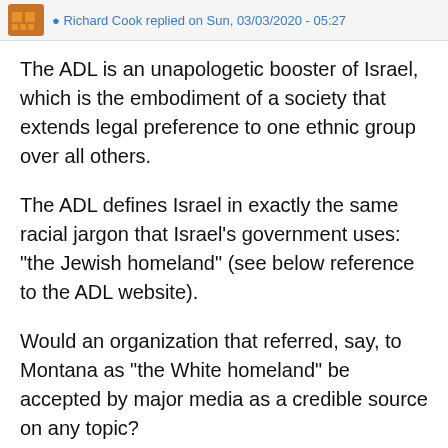Richard Cook replied on Sun, 03/03/2020 - 05:27
The ADL is an unapologetic booster of Israel, which is the embodiment of a society that extends legal preference to one ethnic group over all others.
The ADL defines Israel in exactly the same racial jargon that Israel's government uses: "the Jewish homeland" (see below reference to the ADL website).
Would an organization that referred, say, to Montana as "the White homeland" be accepted by major media as a credible source on any topic?
With segregated highways, schools, apartment buildings, beaches, entertainment venues, villages, towns, and cities, Israel is the embodiment of a social system that privileges one ethnicity over all others. The ADL endorses all if this contemptable racism.